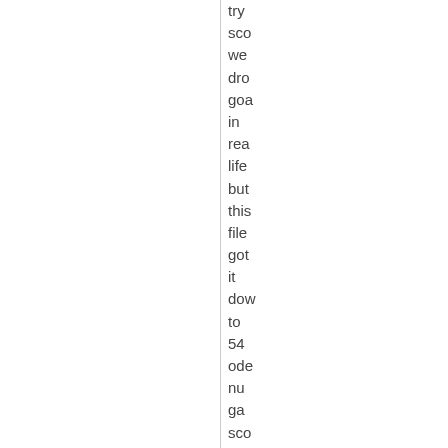try
sco
we
dro
goa
in
rea
life
but
this
file
got
it
dow
to
54
ode
nu
ga
sco
in
my
tes
the
rea